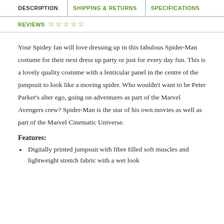DESCRIPTION | SHIPPING & RETURNS | SPECIFICATIONS
REVIEWS ☆ ☆ ☆ ☆ ☆
Your Spidey fan will love dressing up in this fabulous Spider-Man costume for their next dress up party or just for every day fun. This is a lovely quality costume with a lenticular panel in the centre of the jumpsuit to look like a moving spider. Who wouldn't want to be Peter Parker's alter ego, going on adventures as part of the Marvel Avengers crew? Spider-Man is the star of his own movies as well as part of the Marvel Cinematic Universe.
Features:
Digitally printed jumpsuit with fibre filled soft muscles and lightweight stretch fabric with a wet look